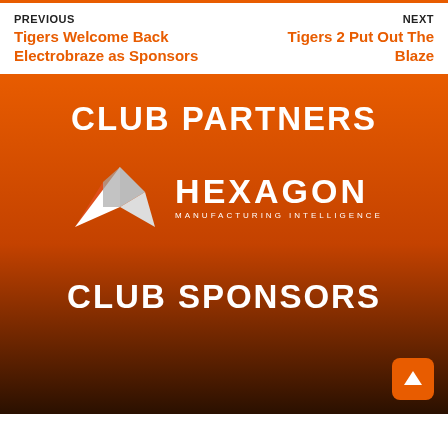PREVIOUS
Tigers Welcome Back Electrobraze as Sponsors
NEXT
Tigers 2 Put Out The Blaze
CLUB PARTNERS
[Figure (logo): Hexagon Manufacturing Intelligence logo — geometric diamond/polygon shape in white and grey on left, with HEXAGON in large white bold letters and MANUFACTURING INTELLIGENCE in smaller white spaced letters on right]
CLUB SPONSORS